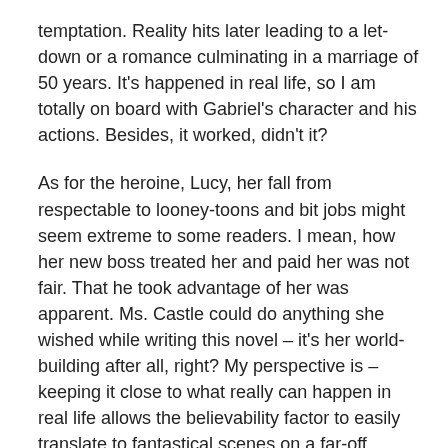temptation. Reality hits later leading to a let-down or a romance culminating in a marriage of 50 years. It's happened in real life, so I am totally on board with Gabriel's character and his actions. Besides, it worked, didn't it?
As for the heroine, Lucy, her fall from respectable to looney-toons and bit jobs might seem extreme to some readers. I mean, how her new boss treated her and paid her was not fair. That he took advantage of her was apparent. Ms. Castle could do anything she wished while writing this novel – it's her world-building after all, right? My perspective is – keeping it close to what really can happen in real life allows the believability factor to easily translate to fantastical scenes on a far-off planet. Human nature being what it is does not change just because it's in a different place. The vices, character quirks, unfair business practices and such happen because humans are eminently fallible. Same with the villains. My favorites are the scheming megalomaniacs with delusions of world domination – it worked in the original series, the Avengers with John Steed and Emma Peel, and adventures on Harmony remind me of some of their plots. Fun, pure